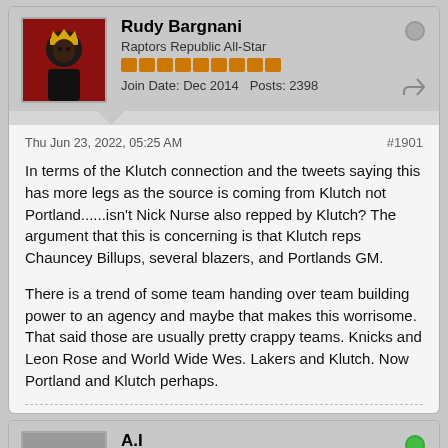Rudy Bargnani
Raptors Republic All-Star
Join Date: Dec 2014  Posts: 2398
Thu Jun 23, 2022, 05:25 AM
#1901
In terms of the Klutch connection and the tweets saying this has more legs as the source is coming from Klutch not Portland......isn't Nick Nurse also repped by Klutch? The argument that this is concerning is that Klutch reps Chauncey Billups, several blazers, and Portlands GM.

There is a trend of some team handing over team building power to an agency and maybe that makes this worrisome. That said those are usually pretty crappy teams. Knicks and Leon Rose and World Wide Wes. Lakers and Klutch. Now Portland and Klutch perhaps.
A.I
Raptors Republic Hall of Famer